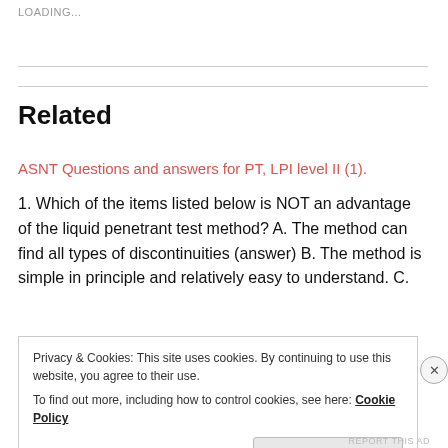LOADING...
Related
ASNT Questions and answers for PT, LPI level II (1).
1. Which of the items listed below is NOT an advantage of the liquid penetrant test method? A. The method can find all types of discontinuities (answer) B. The method is simple in principle and relatively easy to understand. C.
Privacy & Cookies: This site uses cookies. By continuing to use this website, you agree to their use.
To find out more, including how to control cookies, see here: Cookie Policy
Close and accept